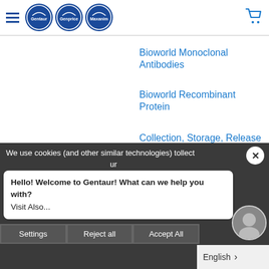Gentaur / Genprice / Maxanim navigation header with hamburger menu and cart icon
Bioworld Monoclonal Antibodies
Bioworld Recombinant Protein
Collection, Storage, Release
DNA Clean-Up
HEAS BieTech Diagnostic
We use cookies (and other similar technologies) to collect ... ur
Hello! Welcome to Gentaur! What can we help you with?
Visit Also...
Settings | Reject all | Accept All
English >